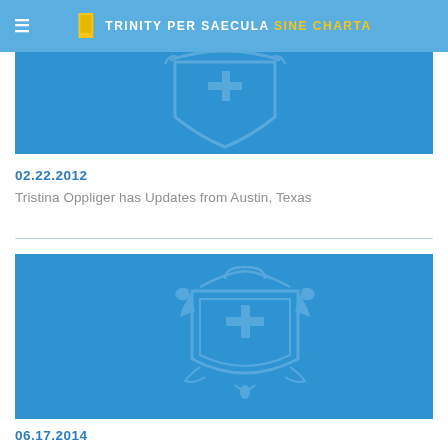TRINITY PER SAECULA SINE CHARTA
[Figure (illustration): Blue banner with Trinity University crest/emblem watermark, partially cropped at top]
02.22.2012
Tristina Oppliger has Updates from Austin, Texas
[Figure (illustration): Blue banner with Trinity University shield crest emblem featuring a cross, with decorative scrollwork]
06.17.2014